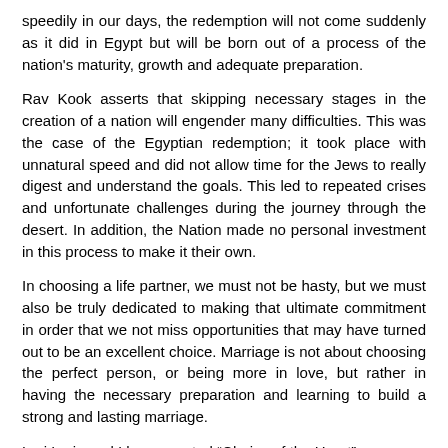speedily in our days, the redemption will not come suddenly as it did in Egypt but will be born out of a process of the nation's maturity, growth and adequate preparation.
Rav Kook asserts that skipping necessary stages in the creation of a nation will engender many difficulties. This was the case of the Egyptian redemption; it took place with unnatural speed and did not allow time for the Jews to really digest and understand the goals. This led to repeated crises and unfortunate challenges during the journey through the desert. In addition, the Nation made no personal investment in this process to make it their own.
In choosing a life partner, we must not be hasty, but we must also be truly dedicated to making that ultimate commitment in order that we not miss opportunities that may have turned out to be an excellent choice. Marriage is not about choosing the perfect person, or being more in love, but rather in having the necessary preparation and learning to build a strong and lasting marriage.
Lori Lurie and I have created “Choice of the Heart”